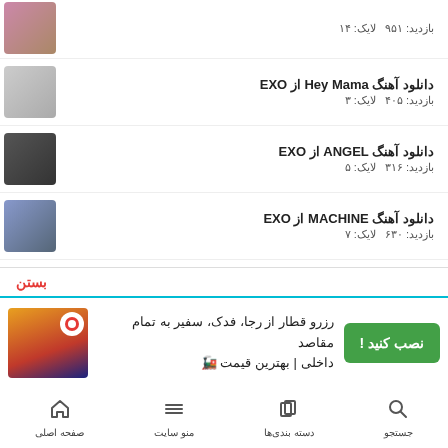بازدید: ۹۵۱   لایک: ۱۴
دانلود آهنگ Hey Mama از EXO
بازدید: ۴۰۵   لایک: ۳
دانلود آهنگ ANGEL از EXO
بازدید: ۳۱۶   لایک: ۵
دانلود آهنگ MACHINE از EXO
بازدید: ۶۳۰   لایک: ۷
دانلود آهنگ History از EXO
بازدید: ۳۸۷   لایک: ۷
دانلود آهنگ CALL ME BABY از EXO
بازدید: ۷۲۰   لایک: ۷
دانلود آهنگ TRANSFORMER از EXO
رزرو قطار از رجا، فدک، سفیر به تمام مقاصد داخلی | بهترین قیمت 🚂
صفحه اصلی   منو سایت   دسته بندی‌ها   جستجو